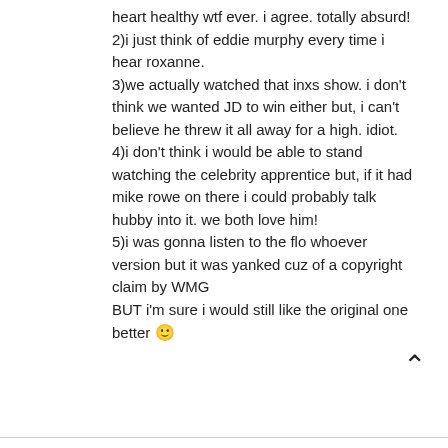heart healthy wtf ever. i agree. totally absurd! 2)i just think of eddie murphy every time i hear roxanne. 3)we actually watched that inxs show. i don't think we wanted JD to win either but, i can't believe he threw it all away for a high. idiot. 4)i don't think i would be able to stand watching the celebrity apprentice but, if it had mike rowe on there i could probably talk hubby into it. we both love him! 5)i was gonna listen to the flo whoever version but it was yanked cuz of a copyright claim by WMG BUT i'm sure i would still like the original one better 🙂